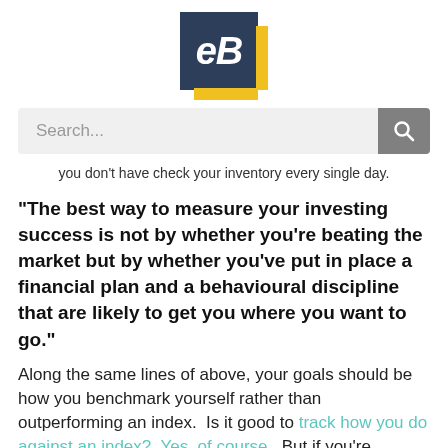[Figure (logo): eB logo: dark navy square with white bold italic 'eB' text, yellow accent strips on right and bottom edges]
[Figure (screenshot): Search bar input field with placeholder text 'Search...' and a grey search button with magnifying glass icon on the right]
you don't have check your inventory every single day.
“The best way to measure your investing success is not by whether you’re beating the market but by whether you’ve put in place a financial plan and a behavioural discipline that are likely to get you where you want to go.”
Along the same lines of above, your goals should be how you benchmark yourself rather than outperforming an index.  Is it good to track how you do against an index?  Yes, of course.  But if you're